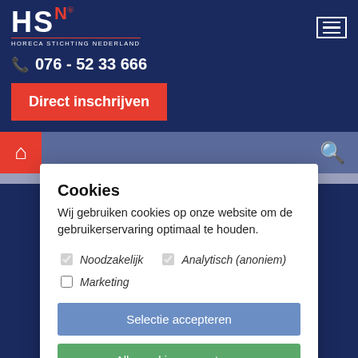HS N® HORECA STICHTING NEDERLAND
076 - 52 33 666
Direct inschrijven
Cookies
Wij gebruiken cookies op onze website om de gebruikerservaring optimaal te houden.
Noodzakelijk
Analytisch (anoniem)
Marketing
Selectie accepteren
Alle cookies accepteren